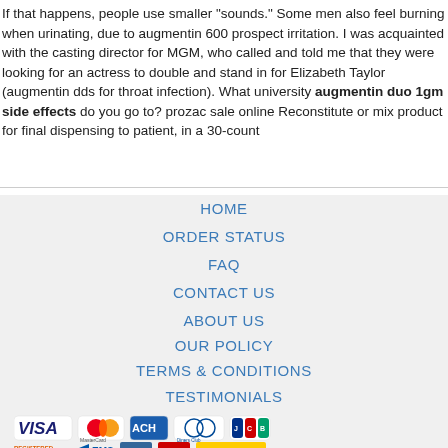If that happens, people use smaller "sounds." Some men also feel burning when urinating, due to augmentin 600 prospect irritation. I was acquainted with the casting director for MGM, who called and told me that they were looking for an actress to double and stand in for Elizabeth Taylor (augmentin dds for throat infection). What university augmentin duo 1gm side effects do you go to? prozac sale online Reconstitute or mix product for final dispensing to patient, in a 30-count
HOME
ORDER STATUS
FAQ
CONTACT US
ABOUT US
OUR POLICY
TERMS & CONDITIONS
TESTIMONIALS
[Figure (other): Payment method logos: VISA, MasterCard, ACH, Diners Club, JCB]
[Figure (other): Shipping logos: Registered Airmail, EMS, USPS, Royal Mail, Deutsche Post]